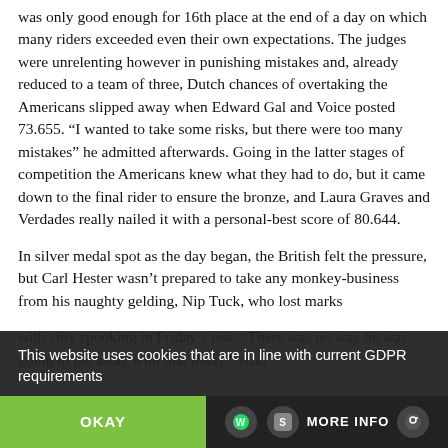was only good enough for 16th place at the end of a day on which many riders exceeded even their own expectations. The judges were unrelenting however in punishing mistakes and, already reduced to a team of three, Dutch chances of overtaking the Americans slipped away when Edward Gal and Voice posted 73.655. “I wanted to take some risks, but there were too many mistakes” he admitted afterwards. Going in the latter stages of competition the Americans knew what they had to do, but it came down to the final rider to ensure the bronze, and Laura Graves and Verdades really nailed it with a personal-best score of 80.644.
In silver medal spot as the day began, the British felt the pressure, but Carl Hester wasn’t prepared to take any monkey-business from his naughty gelding, Nip Tuck, who lost marks with silly spooking in Friday’s test. “There was no way he was going to get away with that today”. And
This website uses cookies that are in line with current GDPR requirements
OKAY
MORE INFO